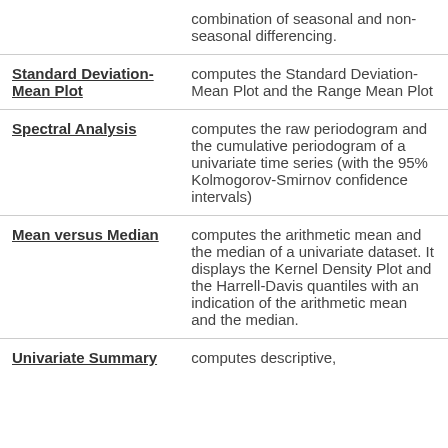| Term | Description |
| --- | --- |
|  | combination of seasonal and non-seasonal differencing. |
| Standard Deviation-Mean Plot | computes the Standard Deviation-Mean Plot and the Range Mean Plot |
| Spectral Analysis | computes the raw periodogram and the cumulative periodogram of a univariate time series (with the 95% Kolmogorov-Smirnov confidence intervals) |
| Mean versus Median | computes the arithmetic mean and the median of a univariate dataset. It displays the Kernel Density Plot and the Harrell-Davis quantiles with an indication of the arithmetic mean and the median. |
| Univariate Summary | computes descriptive, |